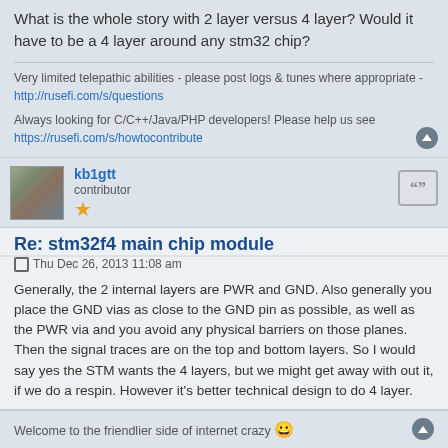What is the whole story with 2 layer versus 4 layer? Would it have to be a 4 layer around any stm32 chip?
Very limited telepathic abilities - please post logs & tunes where appropriate - http://rusefi.com/s/questions

Always looking for C/C++/Java/PHP developers! Please help us see https://rusefi.com/s/howtocontribute
kb1gtt
contributor
Re: stm32f4 main chip module
Thu Dec 26, 2013 11:08 am
Generally, the 2 internal layers are PWR and GND. Also generally you place the GND vias as close to the GND pin as possible, as well as the PWR via and you avoid any physical barriers on those planes. Then the signal traces are on the top and bottom layers. So I would say yes the STM wants the 4 layers, but we might get away with out it, if we do a respin. However it's better technical design to do 4 layer.
Welcome to the friendlier side of internet crazy 😀